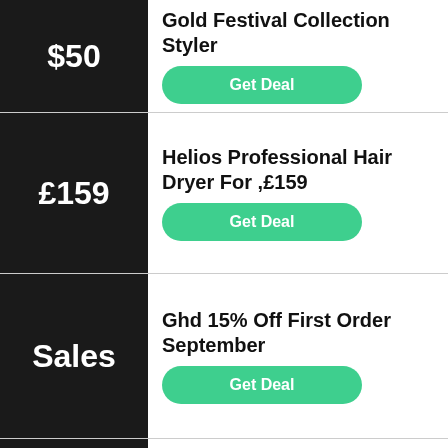$50
Gold Festival Collection Styler
Get Deal
£159
Helios Professional Hair Dryer For ,£159
Get Deal
Sales
Ghd 15% Off First Order September
Get Deal
Free Ghd Oval Dressing Brush Worth £31.25 Wi...